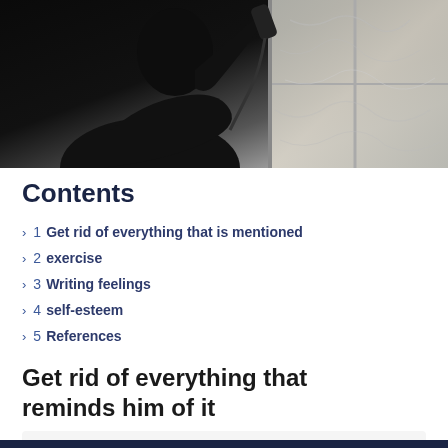[Figure (photo): Black and white photo of a silhouetted person holding a telephone handset near a window with frosted/textured glass]
Contents
> 1 Get rid of everything that is mentioned
> 2 exercise
> 3 Writing feelings
> 4 self-esteem
> 5 References
Get rid of everything that reminds him of it
Code